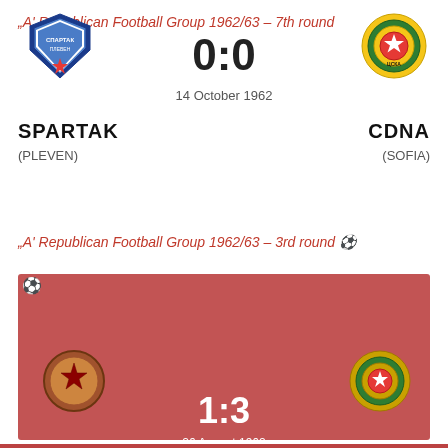„A' Republican Football Group 1962/63 – 7th round
[Figure (logo): Spartak Pleven football club logo - blue shield with star]
0:0
14 October 1962
[Figure (logo): CDNA Sofia football club logo - circular with red star]
SPARTAK
(PLEVEN)
CDNA
(SOFIA)
„A' Republican Football Group 1962/63 – 3rd round
[Figure (logo): Dobrudzha Tolbuhin football club logo]
1:3
26 August 1962
Druzhba, Tolbuhun
[Figure (logo): CDNA Sofia football club logo - circular with red star]
DOBRUDZHA
(TOLBUHIN)
CDNA
(SOFIA)
This website uses a limited number of web cookies to facilitate browsing  Learn more  Understood